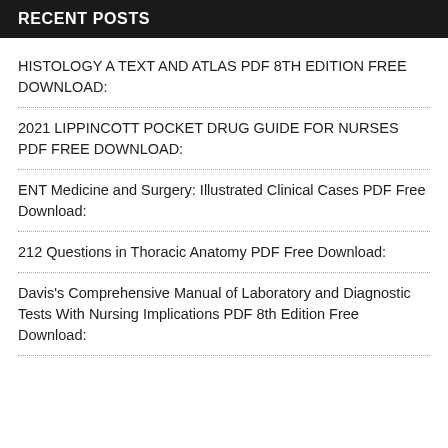RECENT POSTS
HISTOLOGY A TEXT AND ATLAS PDF 8TH EDITION FREE DOWNLOAD:
2021 LIPPINCOTT POCKET DRUG GUIDE FOR NURSES PDF FREE DOWNLOAD:
ENT Medicine and Surgery: Illustrated Clinical Cases PDF Free Download:
212 Questions in Thoracic Anatomy PDF Free Download:
Davis's Comprehensive Manual of Laboratory and Diagnostic Tests With Nursing Implications PDF 8th Edition Free Download: